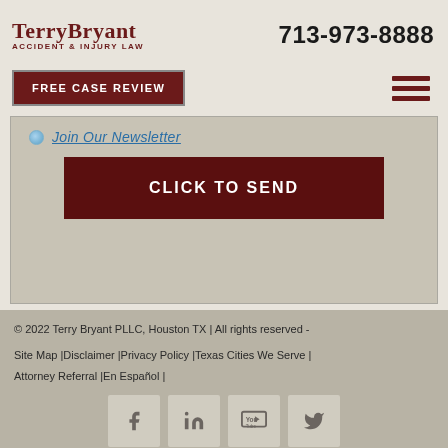Terry Bryant ACCIDENT & INJURY LAW | 713-973-8888
FREE CASE REVIEW
Join Our Newsletter
CLICK TO SEND
© 2022 Terry Bryant PLLC, Houston TX | All rights reserved - Site Map | Disclaimer | Privacy Policy | Texas Cities We Serve | Attorney Referral | En Español |
[Figure (other): Social media icons: Facebook, LinkedIn, YouTube, Twitter]